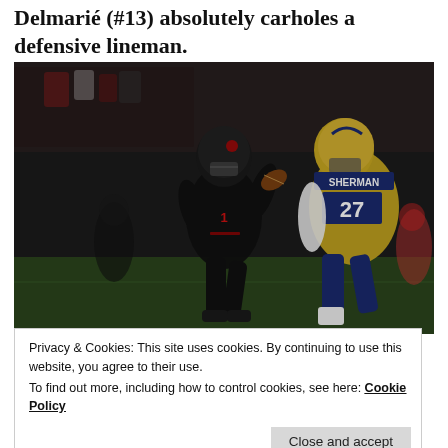Delmarié (#13) absolutely carholes a defensive lineman.
[Figure (photo): A football game photo showing a quarterback in a black Ottawa Redblacks uniform holding a football, with a defender in a gold and blue Winnipeg Blue Bombers uniform (#27 SHERMAN) approaching.]
Privacy & Cookies: This site uses cookies. By continuing to use this website, you agree to their use.
To find out more, including how to control cookies, see here: Cookie Policy